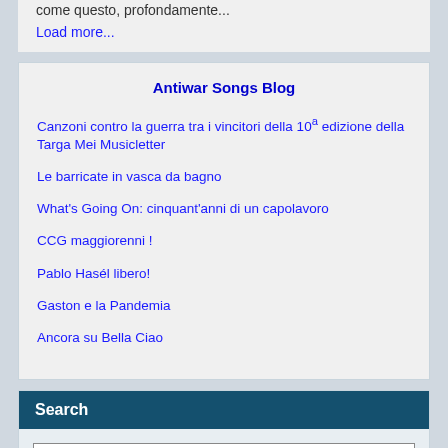come questo, profondamente...
Load more...
Antiwar Songs Blog
Canzoni contro la guerra tra i vincitori della 10ª edizione della Targa Mei Musicletter
Le barricate in vasca da bagno
What's Going On: cinquant'anni di un capolavoro
CCG maggiorenni !
Pablo Hasél libero!
Gaston e la Pandemia
Ancora su Bella Ciao
Search
Search (Title / Author)...